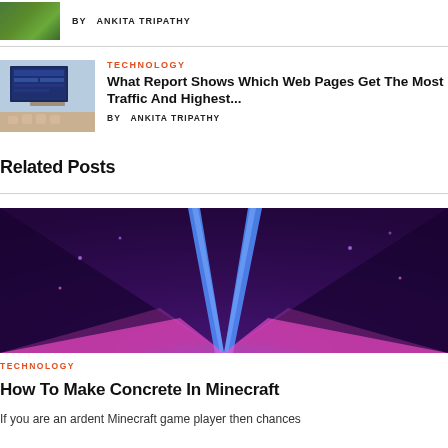BY  ANKITA TRIPATHY
TECHNOLOGY
What Report Shows Which Web Pages Get The Most Traffic And Highest...
BY  ANKITA TRIPATHY
Related Posts
[Figure (photo): Purple and dark neon tunnel with blue and pink light beams converging to a vanishing point]
TECHNOLOGY
How To Make Concrete In Minecraft
If you are an ardent Minecraft game player then chances